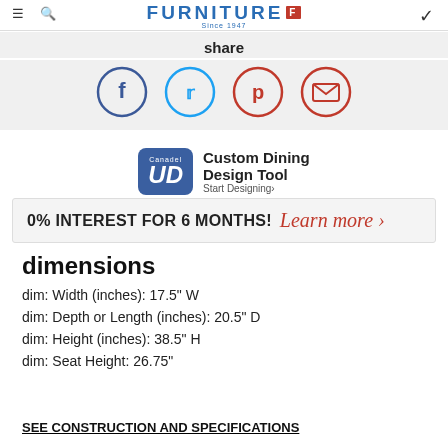FURNITURE Since 1947
share
[Figure (infographic): Social sharing icons: Facebook (blue circle with f), Twitter (light blue circle with bird), Pinterest (red circle with P), Email (red circle with envelope)]
[Figure (logo): Canadel UD Custom Dining Design Tool - Start Designing]
0% INTEREST FOR 6 MONTHS! Learn more >
dimensions
dim: Width (inches): 17.5" W
dim: Depth or Length (inches): 20.5" D
dim: Height (inches): 38.5" H
dim: Seat Height: 26.75"
SEE CONSTRUCTION AND SPECIFICATIONS